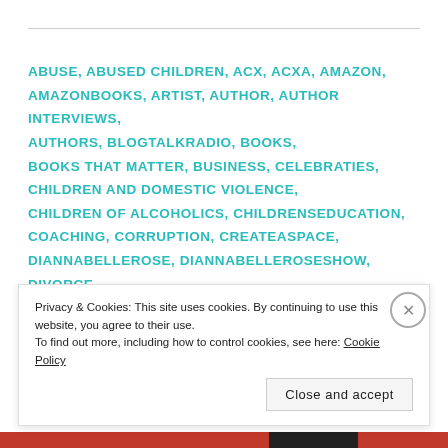ABUSE, ABUSED CHILDREN, ACX, ACXA, AMAZON, AMAZONBOOKS, ARTIST, AUTHOR, AUTHOR INTERVIEWS, AUTHORS, BLOGTALKRADIO, BOOKS, BOOKS THAT MATTER, BUSINESS, CELEBRATIES, CHILDREN AND DOMESTIC VIOLENCE, CHILDREN OF ALCOHOLICS, CHILDRENSEDUCATION, COACHING, CORRUPTION, CREATEASPACE, DIANNABELLEROSE, DIANNABELLEROSESHOW, DIVORCE, DOMESTIC VIOLENCE, EDUCATIONAL, EMPATHY,
Privacy & Cookies: This site uses cookies. By continuing to use this website, you agree to their use. To find out more, including how to control cookies, see here: Cookie Policy
Close and accept